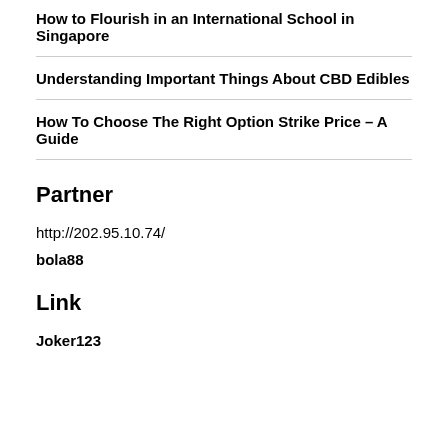How to Flourish in an International School in Singapore
Understanding Important Things About CBD Edibles
How To Choose The Right Option Strike Price – A Guide
Partner
http://202.95.10.74/
bola88
Link
Joker123